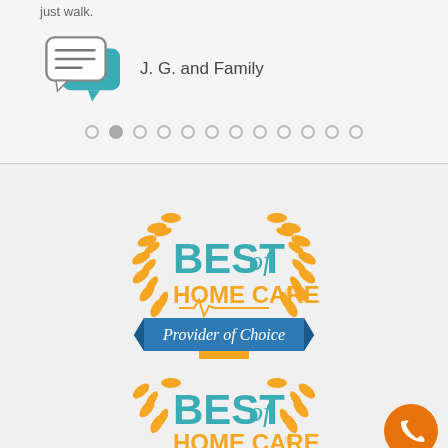just walk.
J. G. and Family
[Figure (infographic): Carousel navigation dots - 12 circles, second one filled/active]
[Figure (logo): Best of Home Care - Provider of Choice award badge with laurel wreath and blue banner]
[Figure (logo): Best of Home Care award badge (partial, second badge) with laurel wreath]
[Figure (other): Orange circular phone call button in bottom right corner]